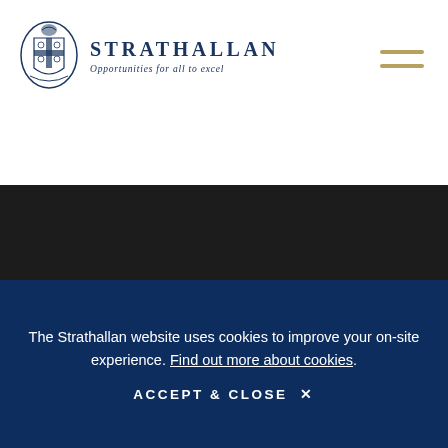[Figure (logo): Strathallan School crest/coat of arms in navy blue, circular shield with cross and decorative elements]
STRATHALLAN
Opportunities for all to excel
[Figure (other): Hamburger menu icon with two gold horizontal lines]
[Figure (photo): Dark/black background section, likely a hero image area]
The Strathallan website uses cookies to improve your on-site experience. Find out more about cookies.
ACCEPT & CLOSE ✕